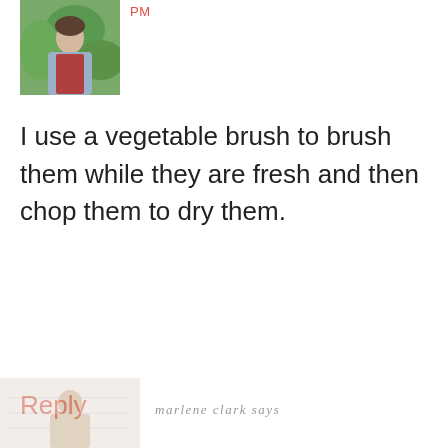[Figure (photo): Avatar photo of a person outdoors with green foliage background]
PM
I use a vegetable brush to brush them while they are fresh and then chop them to dry them.
Reply
[Figure (photo): Partially visible avatar photo of marlene clark at bottom of page]
marlene clark says